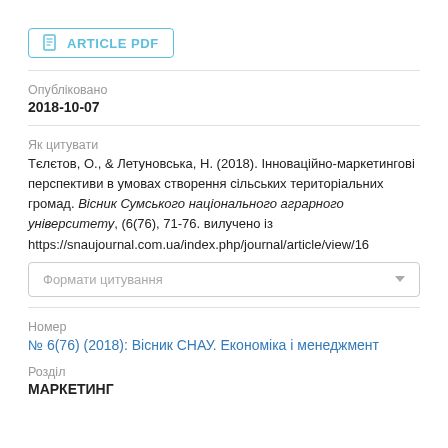[Figure (other): Article PDF download button with document icon]
Опубліковано
2018-10-07
Як цитувати
Тєлєтов, О., & Летуновська, Н. (2018). Інноваційно-маркетингові перспективи в умовах створення сільських територіальних громад. Вісник Сумського національного аграрного університету, (6(76), 71-76. вилучено із https://snaujournal.com.ua/index.php/journal/article/view/16
Формати цитування
Номер
№ 6(76) (2018): Вісник СНАУ. Економіка і менеджмент
Розділ
МАРКЕТИНГ